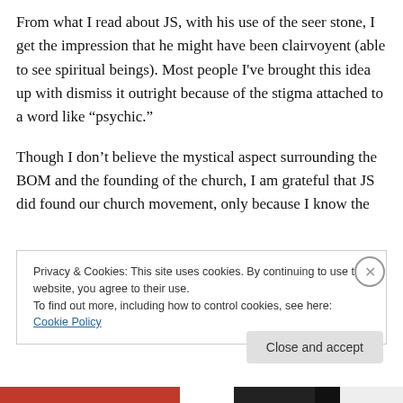From what I read about JS, with his use of the seer stone, I get the impression that he might have been clairvoyent (able to see spiritual beings). Most people I've brought this idea up with dismiss it outright because of the stigma attached to a word like “psychic.”
Though I don’t believe the mystical aspect surrounding the BOM and the founding of the church, I am grateful that JS did found our church movement, only because I know the
Privacy & Cookies: This site uses cookies. By continuing to use this website, you agree to their use.
To find out more, including how to control cookies, see here: Cookie Policy